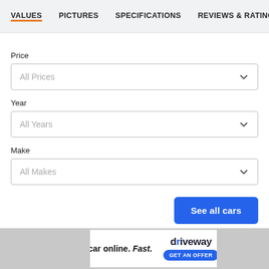VALUES | PICTURES | SPECIFICATIONS | REVIEWS & RATINGS
Price
All Prices
Year
All Years
Make
All Makes
See all cars
Sell your car online. Fast. driveway GET AN OFFER